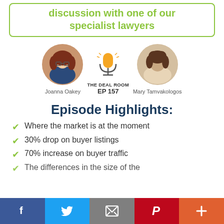discussion with one of our specialist lawyers
[Figure (photo): Podcast episode graphic with two circular portrait photos of Joanna Oakey and Mary Tamvakologos, and a microphone logo for 'The Deal Room EP 157']
Episode Highlights:
Where the market is at the moment
30% drop on buyer listings
70% increase on buyer traffic
The differences in the size of the